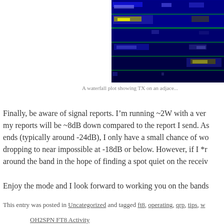[Figure (other): A waterfall plot showing TX on an adjacent frequency, with horizontal green lines separating time slices and bright yellow signals visible in a dark blue background.]
A waterfall plot showing TX on an adjace...
Finally, be aware of signal reports. I'm running ~2W with a very my reports will be ~8dB down compared to the report I send. As ends (typically around -24dB), I only have a small chance of wo dropping to near impossible at -18dB or below. However, if I *r around the band in the hope of finding a spot quiet on the receiv
Enjoy the mode and I look forward to working you on the bands
This entry was posted in Uncategorized and tagged ft8, operating, qrp, tips, w
OH2SPN FT8 Activity